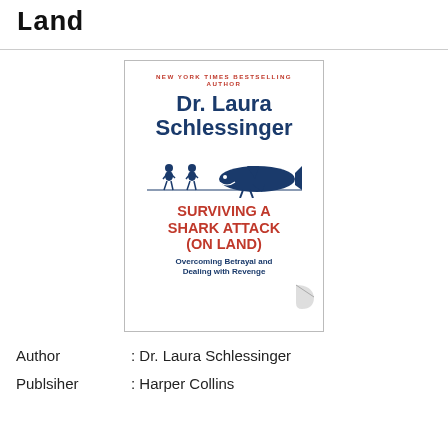Land
[Figure (illustration): Book cover of 'Surviving a Shark Attack (On Land): Overcoming Betrayal and Dealing with Revenge' by Dr. Laura Schlessinger, published by Harper Collins. The cover features the author's name in large blue text, an illustration of people being chased by a shark, and the book title in bold red uppercase letters, with a subtitle in blue italic text.]
Author : Dr. Laura Schlessinger
Publsiher : Harper Collins